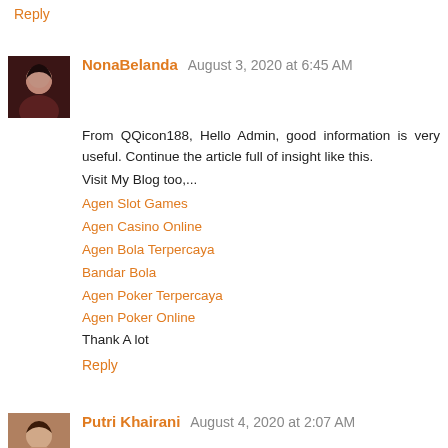Reply
NonaBelanda August 3, 2020 at 6:45 AM
From QQicon188, Hello Admin, good information is very useful. Continue the article full of insight like this.
Visit My Blog too,...
Agen Slot Games
Agen Casino Online
Agen Bola Terpercaya
Bandar Bola
Agen Poker Terpercaya
Agen Poker Online
Thank A lot
Reply
Putri Khairani August 4, 2020 at 2:07 AM
Regards Admin, good information is very useful. Continue on with insightful articles like this.
We are from the Trusted Jud1 Onl1ne Visitorbet Game. Do